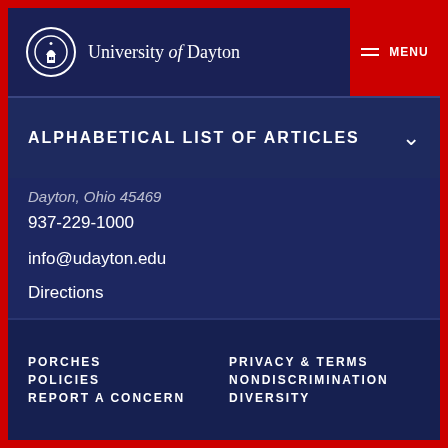University of Dayton
ALPHABETICAL LIST OF ARTICLES
Dayton, Ohio 45469
937-229-1000
info@udayton.edu
Directions
PORCHES | POLICIES | REPORT A CONCERN | PRIVACY & TERMS | NONDISCRIMINATION | DIVERSITY